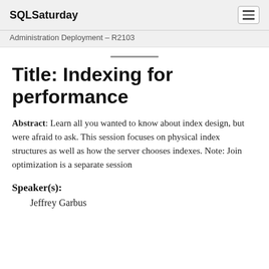SQLSaturday
Administration Deployment – R2103
Title: Indexing for performance
Abstract: Learn all you wanted to know about index design, but were afraid to ask. This session focuses on physical index structures as well as how the server chooses indexes. Note: Join optimization is a separate session
Speaker(s):
Jeffrey Garbus